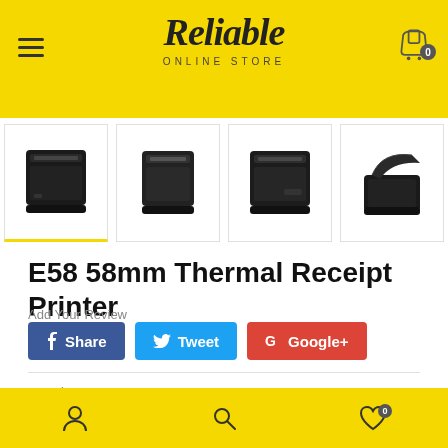Reliable Online Store
[Figure (photo): Four thumbnail images of the E58 58mm Thermal Receipt Printer from different angles, black plastic body]
E58 58mm Thermal Receipt Printer
Add Your Review
[Figure (infographic): Social share buttons: Facebook Share, Twitter Tweet, Google+ Google+]
Product SKU: 213311901
Navigation footer with user icon, search icon, and wishlist icon with badge 0